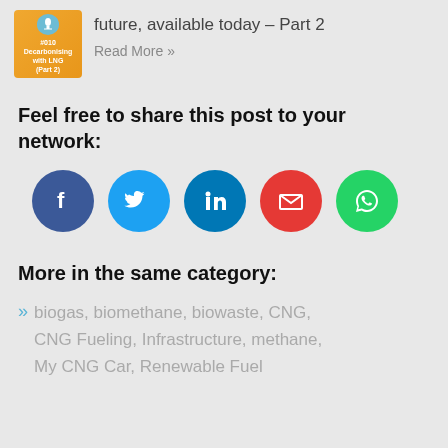[Figure (illustration): Thumbnail image for podcast episode #010 about Decarbonising with LNG Part 2, orange background with microphone icon]
future, available today – Part 2
Read More »
Feel free to share this post to your network:
[Figure (infographic): Row of five social sharing buttons: Facebook (dark blue circle), Twitter (light blue circle), LinkedIn (medium blue circle), Email (red circle), WhatsApp (green circle)]
More in the same category:
biogas, biomethane, biowaste, CNG, CNG Fueling, Infrastructure, methane, My CNG Car, Renewable Fuel